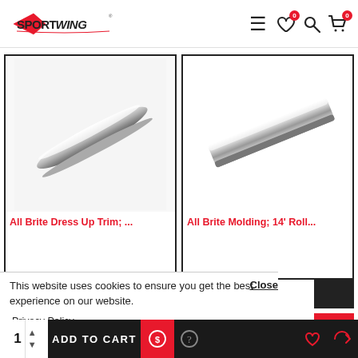Sportwing — navigation header with logo, menu, wishlist (0), search, cart (0)
[Figure (photo): Chrome automotive trim strip / dress up trim product photo, diagonal view on white background]
[Figure (photo): Chrome automotive molding strip product photo, diagonal view on white background]
All Brite Dress Up Trim; ...
All Brite Molding; 14' Roll...
Close
This website uses cookies to ensure you get the best experience on our website.
Privacy Policy
Preferences
Accept
1  ADD TO CART  [cart icon] [help icon]  [wishlist icon] [return icon]